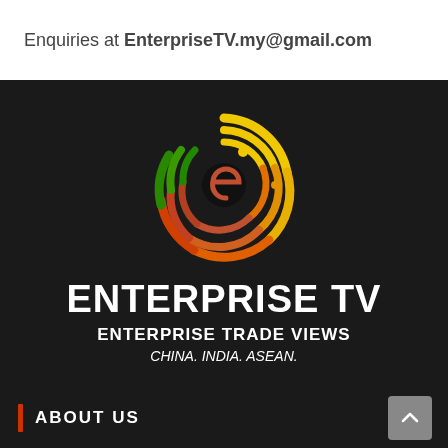Enquiries at EnterpriseTV.my@gmail.com
[Figure (logo): Enterprise TV circular logo with yellow, orange, red and green concentric spiral arcs on dark background, with 'e' letterform in center]
ENTERPRISE TV
ENTERPRISE TRADE VIEWS
CHINA. INDIA. ASEAN.
ABOUT US